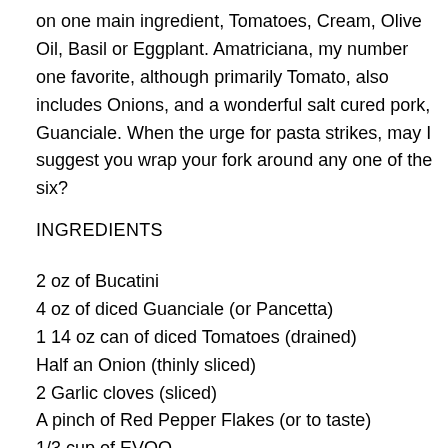on one main ingredient, Tomatoes, Cream, Olive Oil, Basil or Eggplant. Amatriciana, my number one favorite, although primarily Tomato, also includes Onions, and a wonderful salt cured pork, Guanciale. When the urge for pasta strikes, may I suggest you wrap your fork around any one of the six?
INGREDIENTS
2 oz of Bucatini
4 oz of diced Guanciale (or Pancetta)
1 14 oz can of diced Tomatoes (drained)
Half an Onion (thinly sliced)
2 Garlic cloves (sliced)
A pinch of Red Pepper Flakes (or to taste)
1/3 cup of EVOO
Pecorino Romano (freshly grated)